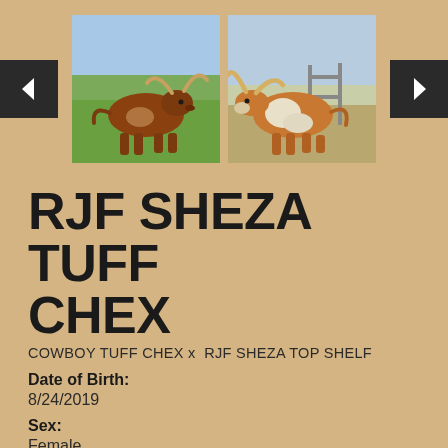[Figure (photo): Two photos of Texas Longhorn cattle side by side at the top of the page. Left photo shows a brown/reddish longhorn cow in a green grassy field. Right photo shows a brown and white longhorn cow in a fenced area.]
RJF SHEZA TUFF CHEX
COWBOY TUFF CHEX x  RJF SHEZA TOP SHELF
Date of Birth:
8/24/2019
Sex:
Female
Owner Name:
Hidden Springs Ranch
Breeder:
Richard & jeanne Filip
PH #:
934
Reg #1: